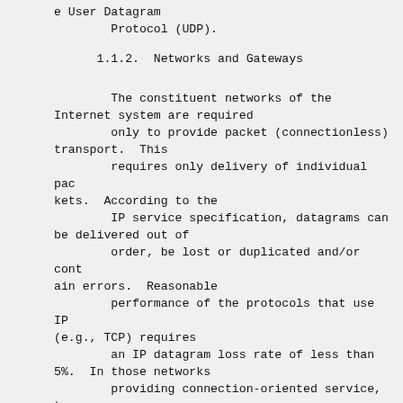e User Datagram
        Protocol (UDP).
1.1.2.  Networks and Gateways
The constituent networks of the Internet system are required
        only to provide packet (connectionless) transport.  This
        requires only delivery of individual packets.  According to the
        IP service specification, datagrams can be delivered out of
        order, be lost or duplicated and/or contain errors.  Reasonable
        performance of the protocols that use IP (e.g., TCP) requires
        an IP datagram loss rate of less than 5%.  In those networks
        providing connection-oriented service, the extra reliability
        provided by virtual circuits enhances the end-end robustness of